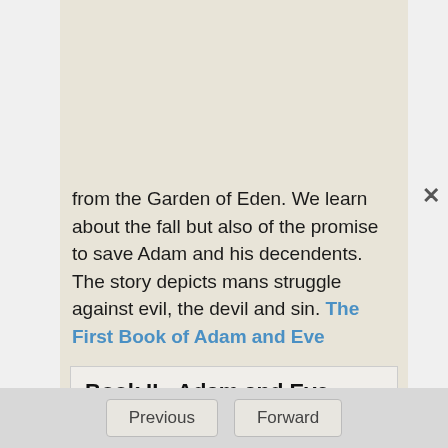from the Garden of Eden. We learn about the fall but also of the promise to save Adam and his decendents. The story depicts mans struggle against evil, the devil and sin. The First Book of Adam and Eve
Book II - Adam and Eve
Discusses Adam's sorrow and death. The history of the patriarchs who lived before the Flood until the birth of Noah; the children of Seth on Mount Hermon and Cain's death. It ends with the testament and translation of Enoch. The Second Book of Adam and Eve
Previous   Forward